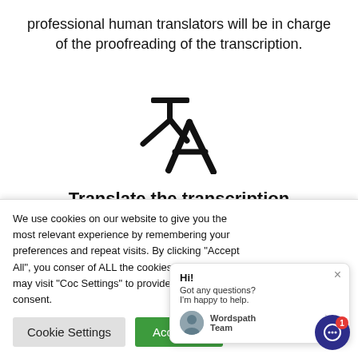professional human translators will be in charge of the proofreading of the transcription.
[Figure (illustration): Translation/language icon: Chinese character 文 with a large letter A, representing translation between languages]
Translate the transcription
We use cookies on our website to give you the most relevant experience by remembering your preferences and repeat visits. By clicking "Accept All", you consent to the use of ALL the cookies. However, you may visit "Cookie Settings" to provide a controlled consent.
Hi! Got any questions? I'm happy to help. Wordspath Team just now